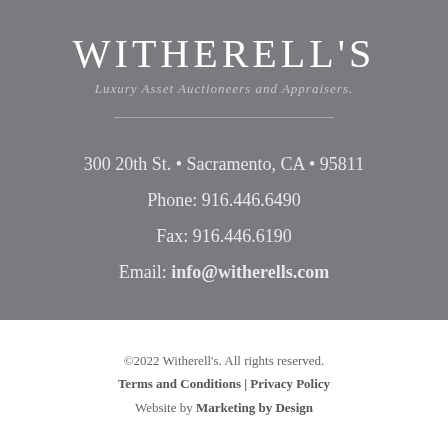WITHERELL'S
Luxury Asset Auctioneers and Appraisers.
300 20th St. • Sacramento, CA • 95811
Phone: 916.446.6490
Fax: 916.446.6190
Email: info@witherells.com
©2022 Witherell's. All rights reserved.
Terms and Conditions | Privacy Policy
Website by Marketing by Design